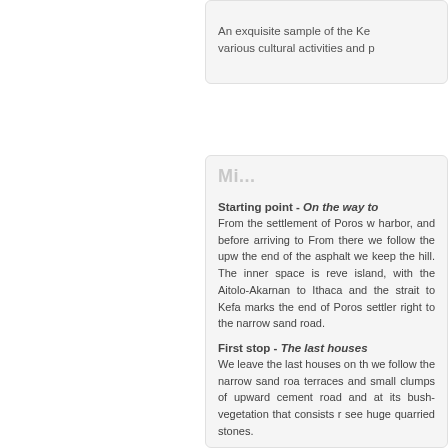An exquisite sample of the Ke various cultural activities and p
Mi...
Starting point - On the way to From the settlement of Poros w harbor, and before arriving to From there we follow the upw the end of the asphalt we keep the hill. The inner space is reve island, with the Aitolo-Akarnan to Ithaca and the strait to Kefa marks the end of Poros settler right to the narrow sand road.
First stop - The last houses We leave the last houses on th we follow the narrow sand roa terraces and small clumps of upward cement road and at its bush-vegetation that consists r see huge quarried stones.